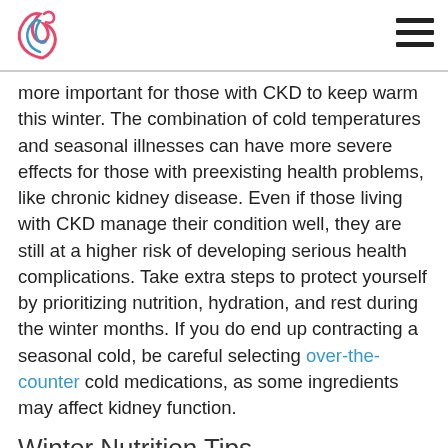[Logo and hamburger menu]
more important for those with CKD to keep warm this winter. The combination of cold temperatures and seasonal illnesses can have more severe effects for those with preexisting health problems, like chronic kidney disease. Even if those living with CKD manage their condition well, they are still at a higher risk of developing serious health complications. Take extra steps to protect yourself by prioritizing nutrition, hydration, and rest during the winter months. If you do end up contracting a seasonal cold, be careful selecting over-the-counter cold medications, as some ingredients may affect kidney function.
Winter Nutrition Tips
A great way to warm up in winter weather is to eat nutritious, comforting, ability, and the best foods for